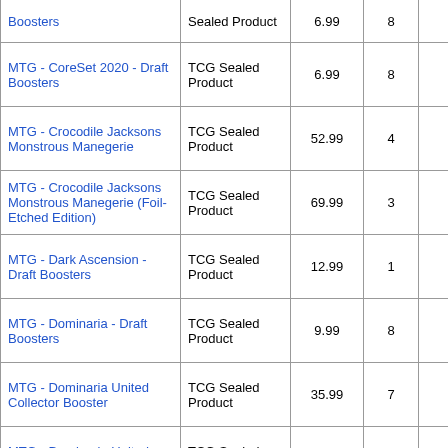| Name | Type | Price | Qty | Add |
| --- | --- | --- | --- | --- |
| Boosters | Sealed Product | 6.99 | 8 | 0 |
| MTG - CoreSet 2020 - Draft Boosters | TCG Sealed Product | 6.99 | 8 | 0 |
| MTG - Crocodile Jacksons Monstrous Manegerie | TCG Sealed Product | 52.99 | 4 | 0 |
| MTG - Crocodile Jacksons Monstrous Manegerie (Foil-Etched Edition) | TCG Sealed Product | 69.99 | 3 | 0 |
| MTG - Dark Ascension - Draft Boosters | TCG Sealed Product | 12.99 | 1 | 0 |
| MTG - Dominaria - Draft Boosters | TCG Sealed Product | 9.99 | 8 | 0 |
| MTG - Dominaria United Collector Booster | TCG Sealed Product | 35.99 | 7 | 0 |
| MTG - Dominaria United Draft Booster | TCG Sealed Product | 5.99 | 8 | 0 |